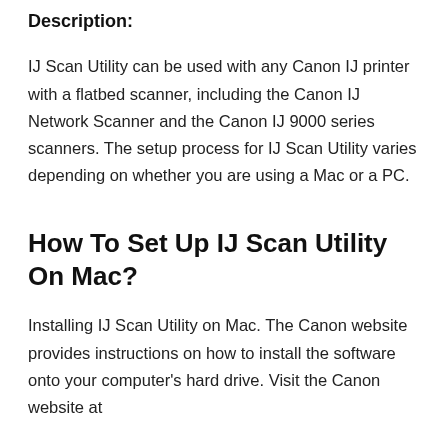Description:
IJ Scan Utility can be used with any Canon IJ printer with a flatbed scanner, including the Canon IJ Network Scanner and the Canon IJ 9000 series scanners. The setup process for IJ Scan Utility varies depending on whether you are using a Mac or a PC.
How To Set Up IJ Scan Utility On Mac?
Installing IJ Scan Utility on Mac. The Canon website provides instructions on how to install the software onto your computer's hard drive. Visit the Canon website at